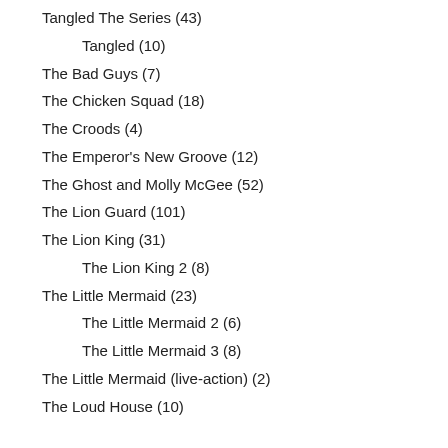Tangled The Series (43)
Tangled (10)
The Bad Guys (7)
The Chicken Squad (18)
The Croods (4)
The Emperor's New Groove (12)
The Ghost and Molly McGee (52)
The Lion Guard (101)
The Lion King (31)
The Lion King 2 (8)
The Little Mermaid (23)
The Little Mermaid 2 (6)
The Little Mermaid 3 (8)
The Little Mermaid (live-action) (2)
The Loud House (10)